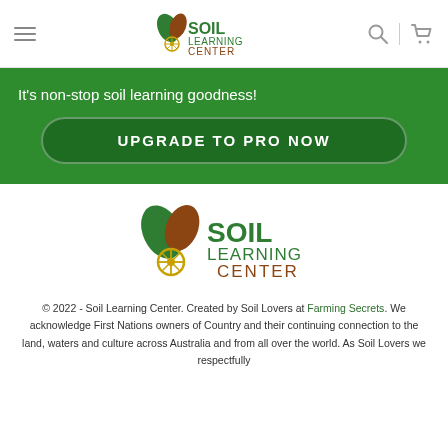Soil Learning Center — navigation bar with hamburger menu, logo, search and cart icons
[Figure (logo): Soil Learning Center logo with leaf and root illustration, inline in nav bar]
It's non-stop soil learning goodness!
UPGRADE TO PRO NOW
[Figure (logo): Soil Learning Center logo — larger version in footer area]
© 2022 - Soil Learning Center. Created by Soil Lovers at Farming Secrets. We acknowledge First Nations owners of Country and their continuing connection to the land, waters and culture across Australia and from all over the world. As Soil Lovers we respectfully